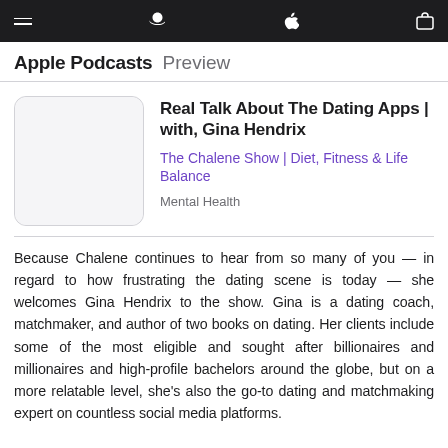Apple Podcasts Preview
Real Talk About The Dating Apps | with, Gina Hendrix
The Chalene Show | Diet, Fitness & Life Balance
Mental Health
Because Chalene continues to hear from so many of you — in regard to how frustrating the dating scene is today — she welcomes Gina Hendrix to the show. Gina is a dating coach, matchmaker, and author of two books on dating. Her clients include some of the most eligible and sought after billionaires and millionaires and high-profile bachelors around the globe, but on a more relatable level, she's also the go-to dating and matchmaking expert on countless social media platforms.